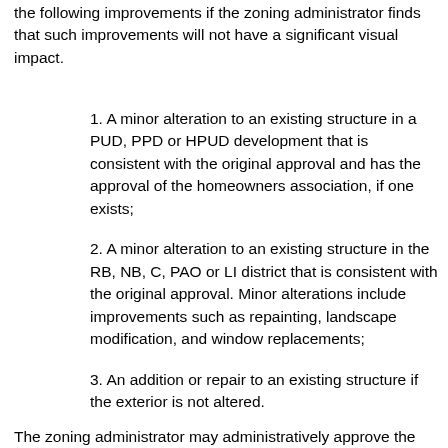the following improvements if the zoning administrator finds that such improvements will not have a significant visual impact.
1. A minor alteration to an existing structure in a PUD, PPD or HPUD development that is consistent with the original approval and has the approval of the homeowners association, if one exists;
2. A minor alteration to an existing structure in the RB, NB, C, PAO or LI district that is consistent with the original approval. Minor alterations include improvements such as repainting, landscape modification, and window replacements;
3. An addition or repair to an existing structure if the exterior is not altered.
The zoning administrator may administratively approve the following